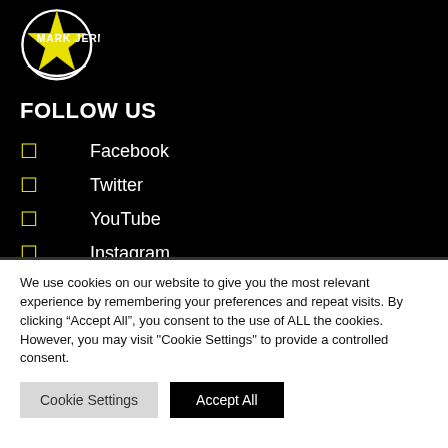[Figure (logo): Mark Jermin logo: circular design with yellow star and white crescent/swoosh, text MARK JERMIN]
FOLLOW US
Facebook
Twitter
YouTube
Instagram
We use cookies on our website to give you the most relevant experience by remembering your preferences and repeat visits. By clicking “Accept All”, you consent to the use of ALL the cookies. However, you may visit "Cookie Settings" to provide a controlled consent.
Cookie Settings | Accept All